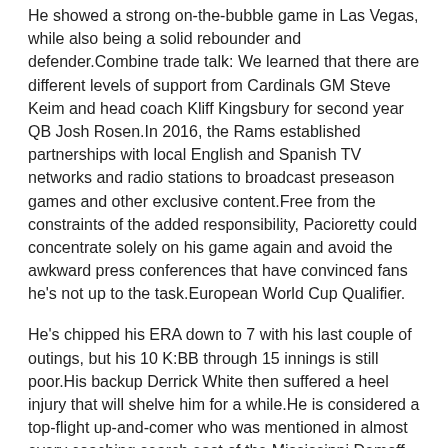He showed a strong on-the-bubble game in Las Vegas, while also being a solid rebounder and defender.Combine trade talk: We learned that there are different levels of support from Cardinals GM Steve Keim and head coach Kliff Kingsbury for second year QB Josh Rosen.In 2016, the Rams established partnerships with local English and Spanish TV networks and radio stations to broadcast preseason games and other exclusive content.Free from the constraints of the added responsibility, Pacioretty could concentrate solely on his game again and avoid the awkward press conferences that have convinced fans he's not up to the task.European World Cup Qualifier.
He's chipped his ERA down to 7 with his last couple of outings, but his 10 K:BB through 15 innings is still poor.His backup Derrick White then suffered a heel injury that will shelve him for a while.He is considered a top-flight up-and-comer who was mentioned in almost every coaching search east of the Mississippi.Demoff helped direct the to its first-ever playoff berth and in his final three seasons with the club, the Avengers posted a record of 28, third-best in the Arena Football League, qualifying for the playoffs in each of those seasons.To find all players born within a certain month and year, for example all players born in December of 1985, choose the month and year with the drop down boxes and then choose the http://www.shopofficialspacer.com/authentic-21-thaddeus-